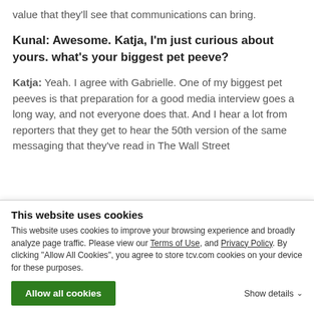value that they'll see that communications can bring.
Kunal: Awesome. Katja, I'm just curious about yours. what's your biggest pet peeve?
Katja: Yeah. I agree with Gabrielle. One of my biggest pet peeves is that preparation for a good media interview goes a long way, and not everyone does that. And I hear a lot from reporters that they get to hear the 50th version of the same messaging that they've read in The Wall Street
This website uses cookies
This website uses cookies to improve your browsing experience and broadly analyze page traffic. Please view our Terms of Use, and Privacy Policy. By clicking “Allow All Cookies”, you agree to store tcv.com cookies on your device for these purposes.
Allow all cookies
Show details